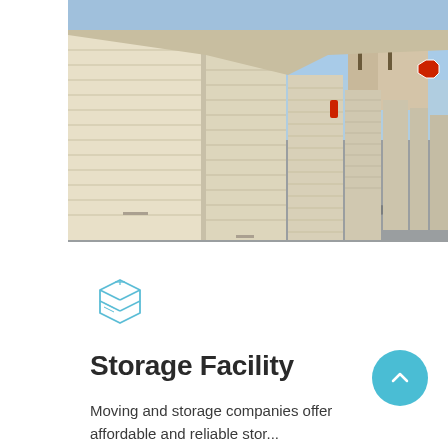[Figure (photo): Outdoor self-storage facility showing a row of beige roll-up metal doors along a paved driveway, with more storage units visible in the background and blue sky with palm trees.]
[Figure (illustration): Light blue outline icon of a cardboard box with lines indicating a sealed package.]
Storage Facility
Moving and storage companies offer affordable and reliable storage services in...